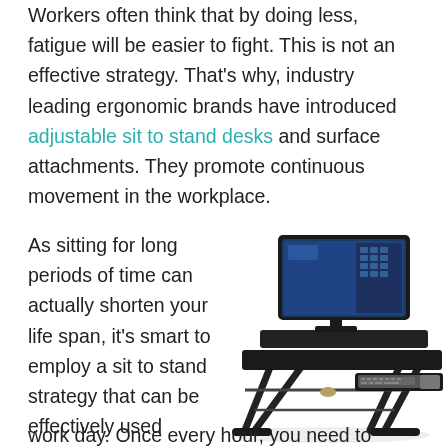Workers often think that by doing less, fatigue will be easier to fight. This is not an effective strategy. That's why, industry leading ergonomic brands have introduced adjustable sit to stand desks and surface attachments. They promote continuous movement in the workplace.
As sitting for long periods of time can actually shorten your life span, it's smart to employ a sit to stand strategy that can be effectively used throughout your work day. Once every hour, you need to stand up to stretch
[Figure (photo): A standing desk converter (sit-to-stand desk riser) with a black frame, an X-shaped scissor lift mechanism, a keyboard tray, and a wide work surface with a monitor on top showing a blue desktop screen.]